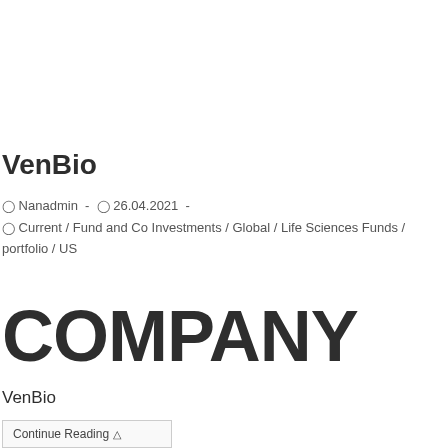VenBio
Nanadmin  -   26.04.2021  -
Current / Fund and Co Investments / Global / Life Sciences Funds / portfolio / US
COMPANY
VenBio
Continue Reading